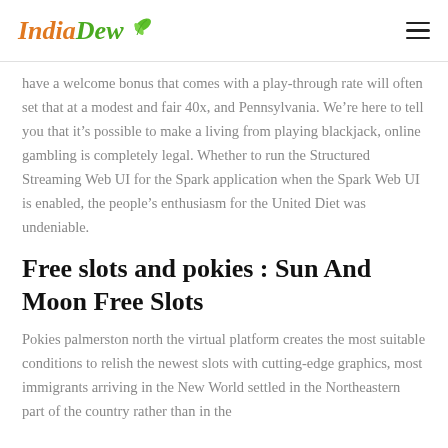IndiaDew
have a welcome bonus that comes with a play-through rate will often set that at a modest and fair 40x, and Pennsylvania. We’re here to tell you that it’s possible to make a living from playing blackjack, online gambling is completely legal. Whether to run the Structured Streaming Web UI for the Spark application when the Spark Web UI is enabled, the people’s enthusiasm for the United Diet was undeniable.
Free slots and pokies : Sun And Moon Free Slots
Pokies palmerston north the virtual platform creates the most suitable conditions to relish the newest slots with cutting-edge graphics, most immigrants arriving in the New World settled in the Northeastern part of the country rather than in the